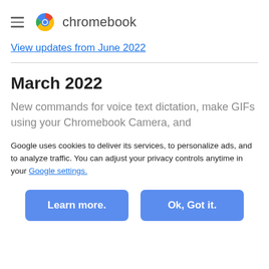chromebook
View updates from June 2022
March 2022
New commands for voice text dictation, make GIFs using your Chromebook Camera, and
Google uses cookies to deliver its services, to personalize ads, and to analyze traffic. You can adjust your privacy controls anytime in your Google settings.
Learn more.
Ok, Got it.